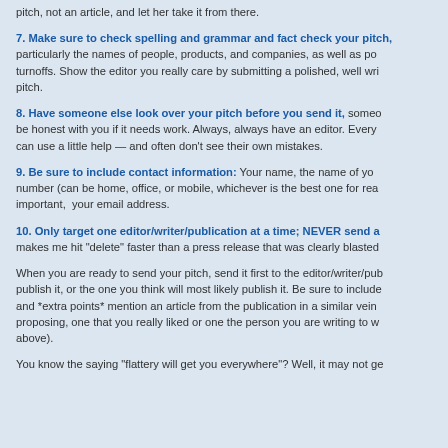pitch, not an article, and let her take it from there.
7. Make sure to check spelling and grammar and fact check your pitch, particularly the names of people, products, and companies, as well as poor turnoffs. Show the editor you really care by submitting a polished, well written pitch.
8. Have someone else look over your pitch before you send it, someone who will be honest with you if it needs work. Always, always have an editor. Everyone can use a little help — and often don't see their own mistakes.
9. Be sure to include contact information: Your name, the name of your number (can be home, office, or mobile, whichever is the best one for reaching you), important, your email address.
10. Only target one editor/writer/publication at a time; NEVER send a makes me hit "delete" faster than a press release that was clearly blasted
When you are ready to send your pitch, send it first to the editor/writer/pub publish it, or the one you think will most likely publish it. Be sure to include and *extra points* mention an article from the publication in a similar vein proposing, one that you really liked or one the person you are writing to w above).
You know the saying "flattery will get you everywhere"? Well, it may not ge